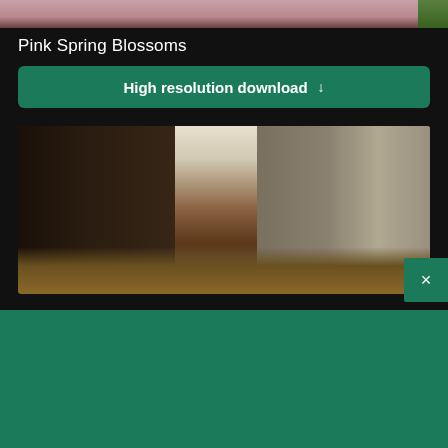[Figure (photo): Cropped photo of pink spring blossoms at top of page]
Pink Spring Blossoms
High resolution download ↓
[Figure (photo): Photo of espresso tamper and coffee equipment on a counter]
[Figure (logo): Shopify logo with shopping bag icon]
Need an online store for your business?
Start free trial